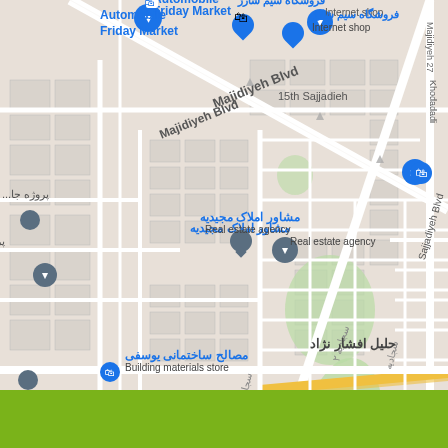[Figure (map): Google Maps style street map showing Majidiyeh and Jahedshahr neighborhoods with labeled streets (Majidiyeh Blvd, Sajjadiyeh Blvd, 6th Golha, 15th Sajjadieh, 1st Jahed), location pins for: Automobile Friday Market, فروشگاه سیم شارژ (Internet shop), مشاور املاک مجیدیه (Real estate agency), زیبایی مد (Hair salon), علی اصغر Foster Care Center, مصالح ساختمانی یوسفی (Building materials store), حلیل افشار نژاد, JAHEDSHAHR (جاهد شهر) neighborhood label, and green park areas. Bottom strip is olive/lime green.]